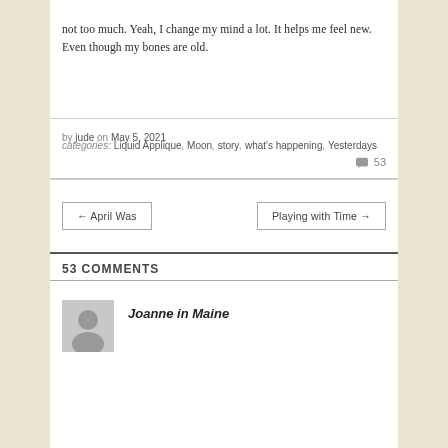not too much.  Yeah, I change my mind a lot.  It helps me feel new.  Even though my bones are old.
by jude on May 5, 2021
categories: Liquid Applique, Moon, story, what's happening, Yesterdays
53
← April Was
Playing with Time →
53 COMMENTS
Joanne in Maine